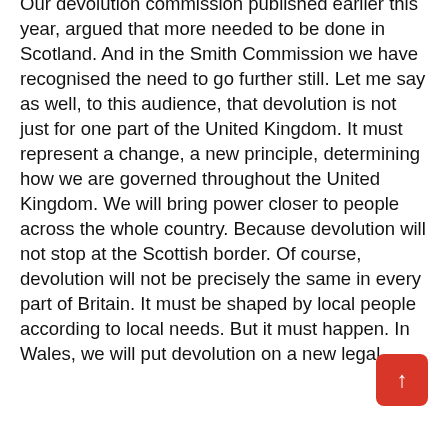Our devolution commission published earlier this year, argued that more needed to be done in Scotland. And in the Smith Commission we have recognised the need to go further still. Let me say as well, to this audience, that devolution is not just for one part of the United Kingdom. It must represent a change, a new principle, determining how we are governed throughout the United Kingdom. We will bring power closer to people across the whole country. Because devolution will not stop at the Scottish border. Of course, devolution will not be precisely the same in every part of Britain. It must be shaped by local people according to local needs. But it must happen. In Wales, we will put devolution on a new legal